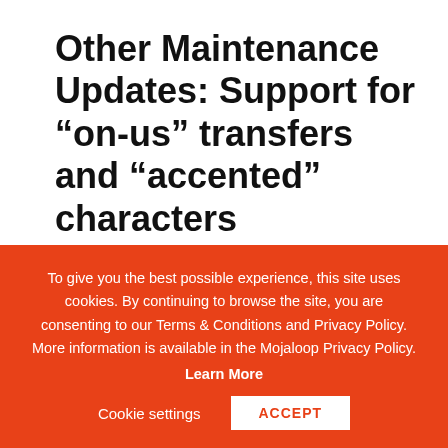Other Maintenance Updates: Support for “on-us” transfers and “accented” characters
The current Mojaloop Hub implementation supports “on-us” transfers. These are transfers in which the Payer and Payee of funds belong to the same FSP. With this release, Mojaloop
To give you the best possible experience, this site uses cookies. By continuing to browse the site, you are consenting to our Terms & Conditions and Privacy Policy. More information is available in the Mojaloop Privacy Policy. Learn More
Cookie settings
ACCEPT